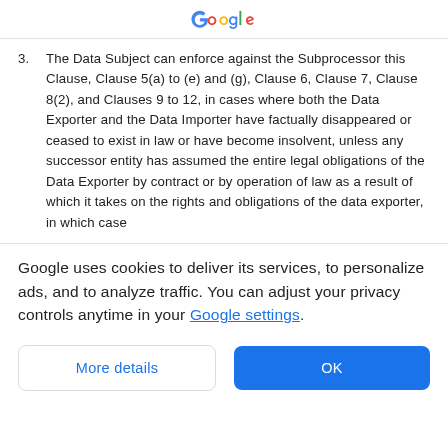Google
3. The Data Subject can enforce against the Subprocessor this Clause, Clause 5(a) to (e) and (g), Clause 6, Clause 7, Clause 8(2), and Clauses 9 to 12, in cases where both the Data Exporter and the Data Importer have factually disappeared or ceased to exist in law or have become insolvent, unless any successor entity has assumed the entire legal obligations of the Data Exporter by contract or by operation of law as a result of which it takes on the rights and obligations of the data exporter, in which case
Google uses cookies to deliver its services, to personalize ads, and to analyze traffic. You can adjust your privacy controls anytime in your Google settings.
More details
OK